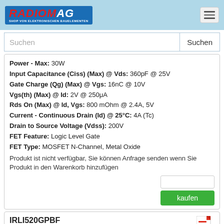RADIOMAG - SHOP VON ELEKTRONISCHEN BAUELEMENTEN
Suchen
Power - Max: 30W
Input Capacitance (Ciss) (Max) @ Vds: 360pF @ 25V
Gate Charge (Qg) (Max) @ Vgs: 16nC @ 10V
Vgs(th) (Max) @ Id: 2V @ 250μA
Rds On (Max) @ Id, Vgs: 800 mOhm @ 2.4A, 5V
Current - Continuous Drain (Id) @ 25°C: 4A (Tc)
Drain to Source Voltage (Vdss): 200V
FET Feature: Logic Level Gate
FET Type: MOSFET N-Channel, Metal Oxide
Produkt ist nicht verfügbar, Sie können Anfrage senden wenn Sie Produkt in den Warenkorb hinzufügen
kaufen
IRLI520GPBF
[Figure (other): PDF icon]
[Figure (photo): IRLI520GPBF product image]
Hersteller: Vishay Siliconix
Description: MOSFET N-CH 100V 7.2A TO220FP
Supplier Device Package: TO-220-3